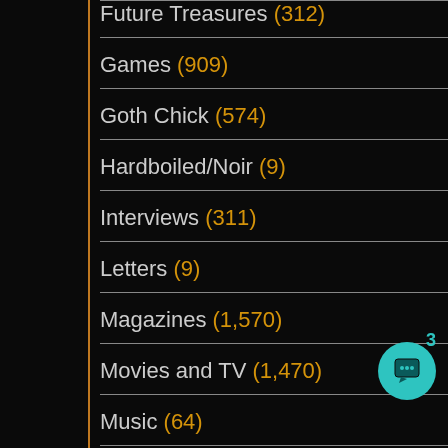Future Treasures (312)
Games (909)
Goth Chick (574)
Hardboiled/Noir (9)
Interviews (311)
Letters (9)
Magazines (1,570)
Movies and TV (1,470)
Music (64)
Mystery (41)
New Treasures (1,902)
News (870)